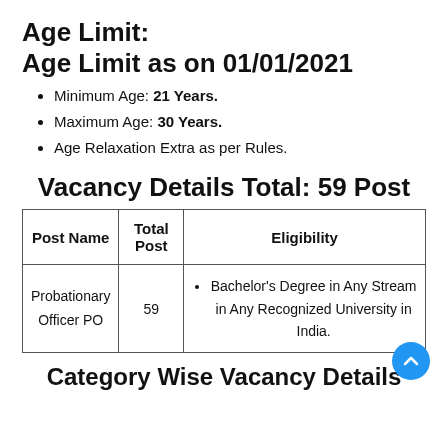Age Limit:
Age Limit as on 01/01/2021
Minimum Age: 21 Years.
Maximum Age: 30 Years.
Age Relaxation Extra as per Rules.
Vacancy Details Total: 59 Post
| Post Name | Total Post | Eligibility |
| --- | --- | --- |
| Probationary Officer PO | 59 | Bachelor's Degree in Any Stream in Any Recognized University in India. |
Category Wise Vacancy Details